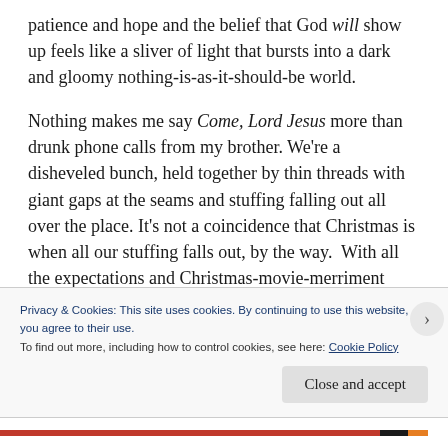patience and hope and the belief that God will show up feels like a sliver of light that bursts into a dark and gloomy nothing-is-as-it-should-be world.
Nothing makes me say Come, Lord Jesus more than drunk phone calls from my brother. We're a disheveled bunch, held together by thin threads with giant gaps at the seams and stuffing falling out all over the place. It's not a coincidence that Christmas is when all our stuffing falls out, by the way.  With all the expectations and Christmas-movie-merriment trying to work around divorce and mileage and scheduling and kid sharing with a
Privacy & Cookies: This site uses cookies. By continuing to use this website, you agree to their use.
To find out more, including how to control cookies, see here: Cookie Policy
Close and accept